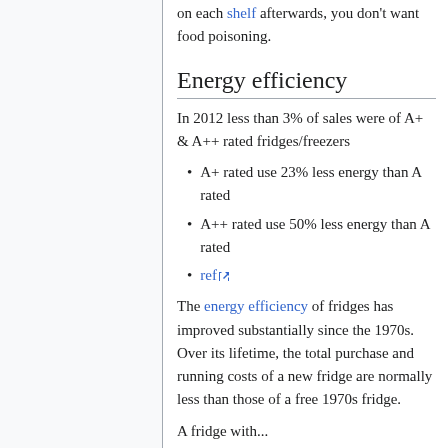on each shelf afterwards, you don't want food poisoning.
Energy efficiency
In 2012 less than 3% of sales were of A+ & A++ rated fridges/freezers
A+ rated use 23% less energy than A rated
A++ rated use 50% less energy than A rated
ref
The energy efficiency of fridges has improved substantially since the 1970s. Over its lifetime, the total purchase and running costs of a new fridge are normally less than those of a free 1970s fridge.
A fridge with...